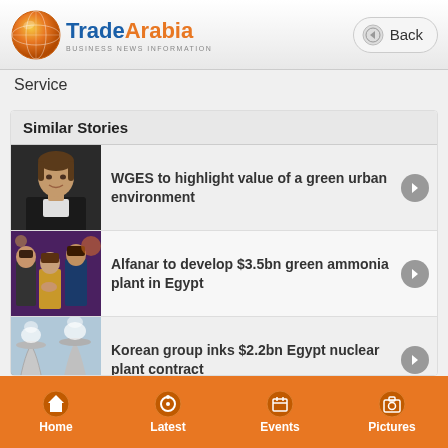TradeArabia BUSINESS NEWS INFORMATION — Back
Service
Similar Stories
[Figure (photo): Portrait of a woman in black clothing]
WGES to highlight value of a green urban environment
[Figure (photo): People shaking hands at a formal event]
Alfanar to develop $3.5bn green ammonia plant in Egypt
[Figure (photo): Cooling towers of a nuclear power plant]
Korean group inks $2.2bn Egypt nuclear plant contract
[Figure (photo): Partial view of a fourth story thumbnail (blue sky/structure)]
Home | Latest | Events | Pictures